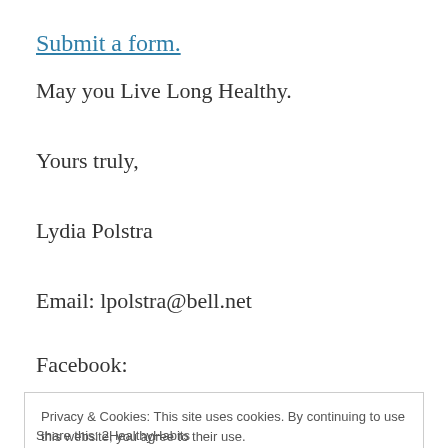Submit a form.
May you Live Long Healthy.
Yours truly,
Lydia Polstra
Email: lpolstra@bell.net
Facebook:
Privacy & Cookies: This site uses cookies. By continuing to use this website, you agree to their use.
To find out more, including how to control cookies, see here:
Cookie Policy
Close and accept
Share this: 2HealthyHabits